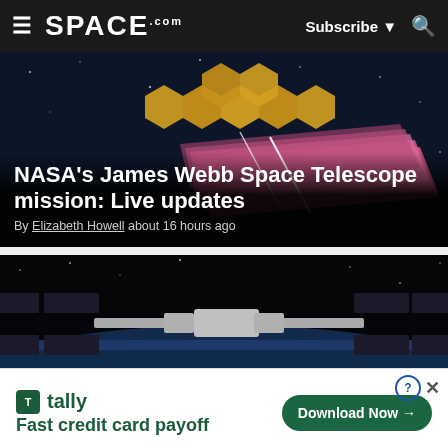SPACE.com — Subscribe | Search
[Figure (photo): James Webb Space Telescope illustration showing the hexagonal gold mirror segments and sunshield in space against a dark blue background]
NASA's James Webb Space Telescope mission: Live updates
By Elizabeth Howell about 16 hours ago
[Figure (photo): International Space Station photographed from below against Earth's curved horizon with black space background]
[Figure (screenshot): Advertisement banner: tally — Fast credit card payoff — Download Now button]